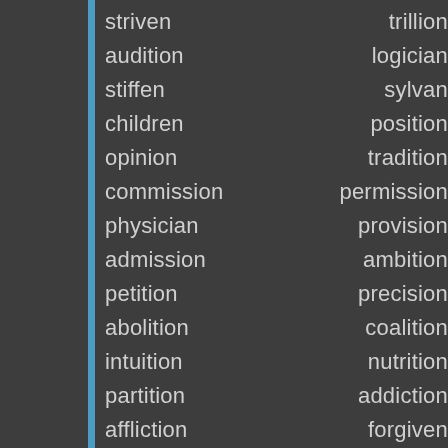striven   trillion
audition   logician
stiffen   sylvan
children   position
opinion   tradition
commission   permission
physician   provision
admission   ambition
petition   precision
abolition   coalition
intuition   nutrition
partition   addiction
affliction   forgiven
musician   apparition